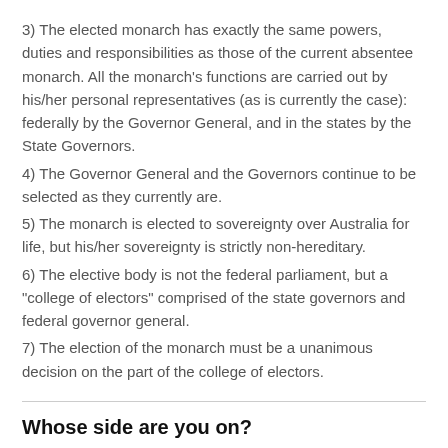3) The elected monarch has exactly the same powers, duties and responsibilities as those of the current absentee monarch. All the monarch's functions are carried out by his/her personal representatives (as is currently the case): federally by the Governor General, and in the states by the State Governors.
4) The Governor General and the Governors continue to be selected as they currently are.
5) The monarch is elected to sovereignty over Australia for life, but his/her sovereignty is strictly non-hereditary.
6) The elective body is not the federal parliament, but a "college of electors" comprised of the state governors and federal governor general.
7) The election of the monarch must be a unanimous decision on the part of the college of electors.
Whose side are you on?
"On the cross we see a Christ whose love holds Him there, rather than our cruel nails and cross-bars... It is His priests we are and if we pick